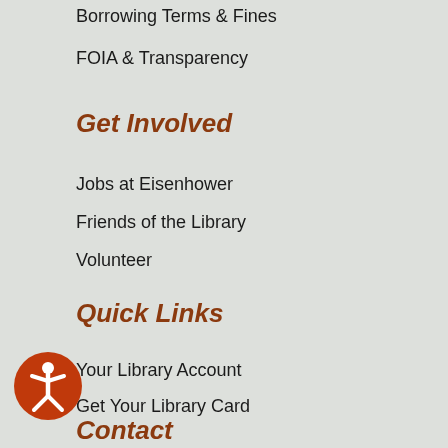Borrowing Terms & Fines
FOIA & Transparency
Get Involved
Jobs at Eisenhower
Friends of the Library
Volunteer
Quick Links
Your Library Account
Get Your Library Card
Subscribe to our Email Newsletter
Book Match
Remote/Wireless Printing
[Figure (illustration): Accessibility icon: orange circle with white stylized human figure]
Contact